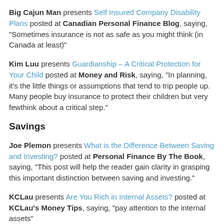Big Cajun Man presents Self Insured Company Disability Plans posted at Canadian Personal Finance Blog, saying, "Sometimes insurance is not as safe as you might think (in Canada at least)"
Kim Luu presents Guardianship – A Critical Protection for Your Child posted at Money and Risk, saying, "In planning, it's the little things or assumptions that tend to trip people up. Many people buy insurance to protect their children but very fewthink about a critical step."
Savings
Joe Plemon presents What is the Difference Between Saving and Investing? posted at Personal Finance By The Book, saying, "This post will help the reader gain clarity in grasping this important distinction between saving and investing."
KCLau presents Are You Rich in Internal Assets? posted at KCLau's Money Tips, saying, "pay attention to the internal assets"